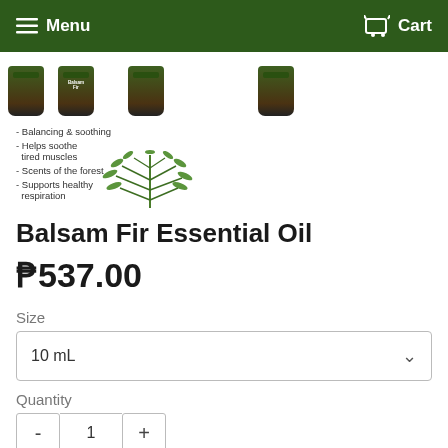Menu  Cart
[Figure (photo): Row of dark green essential oil bottles partially visible at top of page]
- Balancing & soothing
- Helps soothe tired muscles
- Scents of the forest
- Supports healthy respiration
[Figure (illustration): Green fir branch illustration]
Balsam Fir Essential Oil
₱537.00
Size
10 mL
Quantity
- 1 +